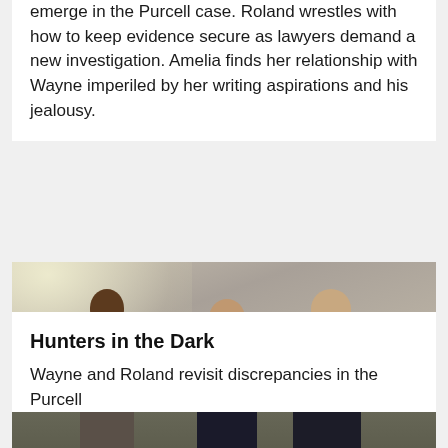Wayne finds himself in a no-win situation as new clues emerge in the Purcell case. Roland wrestles with how to keep evidence secure as lawyers demand a new investigation. Amelia finds her relationship with Wayne imperiled by her writing aspirations and his jealousy.
[Figure (photo): A scene from a TV show showing several men in an office. On the left, a young Black man in a white dress shirt faces right. In the center background, a man in a dark suit with arms crossed watches. On the right, an older white man in a dark suit extends papers or documents toward the man on the left. A fourth person stands in the background to the right.]
Hunters in the Dark
Wayne and Roland revisit discrepancies in the Purcell